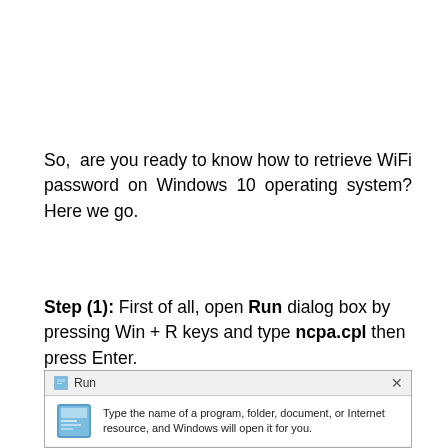So, are you ready to know how to retrieve WiFi password on Windows 10 operating system? Here we go.
Step (1): First of all, open Run dialog box by pressing Win + R keys and type ncpa.cpl then press Enter.
[Figure (screenshot): Windows Run dialog box showing icon and text 'Type the name of a program, folder, document, or Internet resource, and Windows will open it for you.']